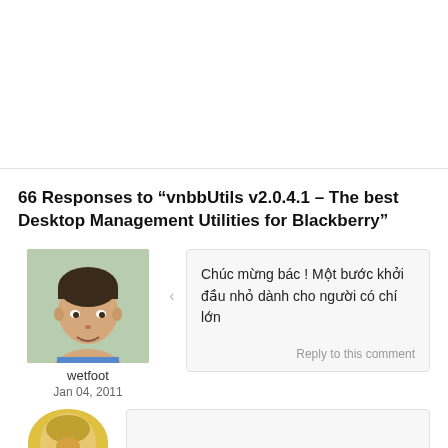66 Responses to “vnbbUtils v2.0.4.1 – The best Desktop Management Utilities for Blackberry”
[Figure (photo): Avatar photo of user 'wetfoot' - young child face]
wetfoot
Jan 04, 2011
Chúc mừng bác ! Một bước khởi đầu nhỏ dành cho người có chí lớn
Reply to this comment
[Figure (photo): Second commenter avatar - partial, circular, yellowish]